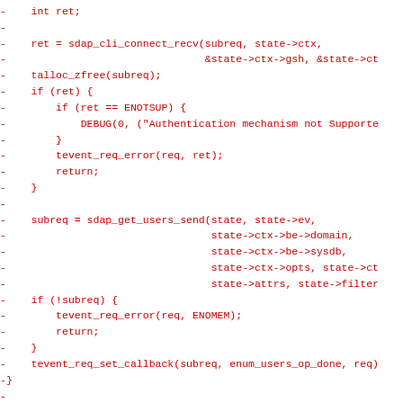Code diff showing removal of LDAP/SDAP connection and user enumeration code in C